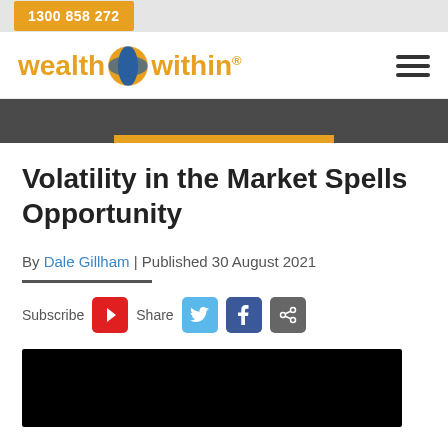1300 858 272
[Figure (logo): Wealth Within logo with orange globe icon and registered trademark symbol]
Volatility in the Market Spells Opportunity
By Dale Gillham | Published 30 August 2021
[Figure (infographic): Social sharing buttons: Subscribe (YouTube red), Share (Twitter blue), Facebook blue, grey share button]
[Figure (photo): Black video thumbnail image at bottom of page]